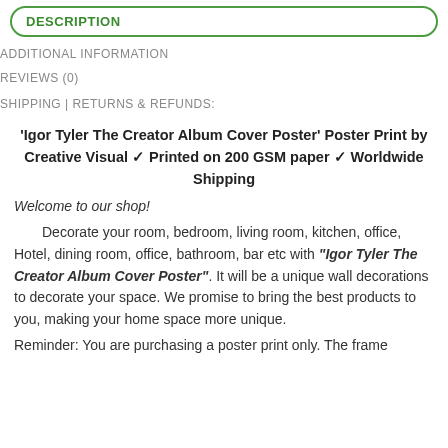DESCRIPTION
ADDITIONAL INFORMATION
REVIEWS (0)
SHIPPING | RETURNS & REFUNDS:
'Igor Tyler The Creator Album Cover Poster' Poster Print by Creative Visual ✓ Printed on 200 GSM paper ✓ Worldwide Shipping
Welcome to our shop!
Decorate your room, bedroom, living room, kitchen, office, Hotel, dining room, office, bathroom, bar etc with "Igor Tyler The Creator Album Cover Poster". It will be a unique wall decorations to decorate your space. We promise to bring the best products to you, making your home space more unique.
Reminder: You are purchasing a poster print only. The frame